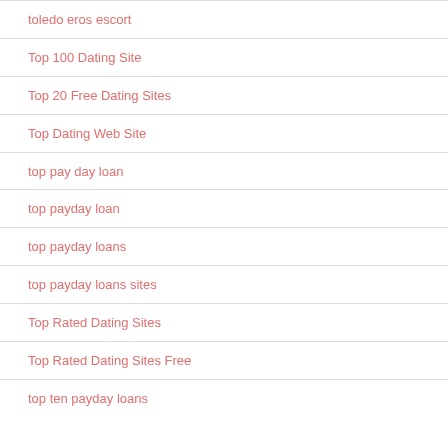toledo eros escort
Top 100 Dating Site
Top 20 Free Dating Sites
Top Dating Web Site
top pay day loan
top payday loan
top payday loans
top payday loans sites
Top Rated Dating Sites
Top Rated Dating Sites Free
top ten payday loans